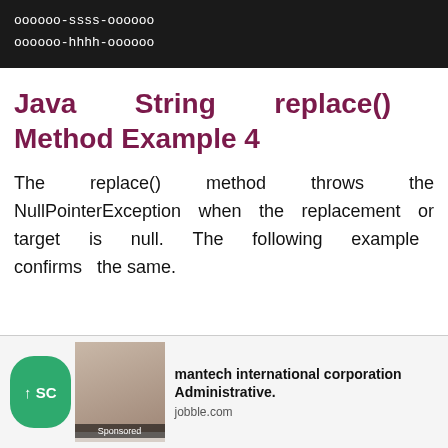[Figure (screenshot): Dark terminal/code block showing two lines of monospace text: 'oooooo-ssss-oooooo' and 'oooooo-hhhh-oooooo' on a black background]
Java String replace() Method Example 4
The replace() method throws the NullPointerException when the replacement or target is null. The following example confirms the same.
[Figure (screenshot): Advertisement bar at bottom of page showing a green scroll-to-top button, a sponsored image of two people, and an ad for 'mantech international corporation Administrative.' from jobble.com]